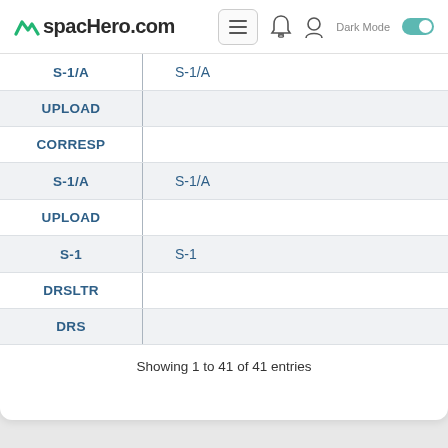spacHero.com
| Type | Form Type |
| --- | --- |
| S-1/A | S-1/A |
| UPLOAD |  |
| CORRESP |  |
| S-1/A | S-1/A |
| UPLOAD |  |
| S-1 | S-1 |
| DRSLTR |  |
| DRS |  |
Showing 1 to 41 of 41 entries